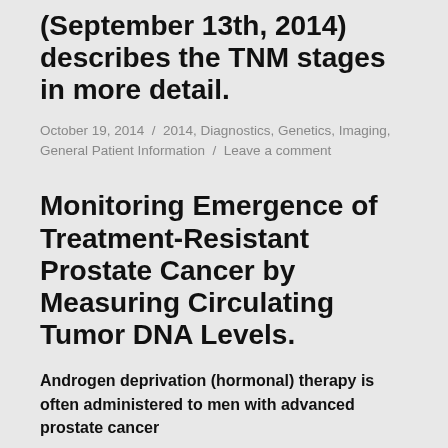(September 13th, 2014) describes the TNM stages in more detail.
October 19, 2014 / 2014, Diagnostics, Genetics, Imaging, General Patient Information / Leave a comment
Monitoring Emergence of Treatment-Resistant Prostate Cancer by Measuring Circulating Tumor DNA Levels.
Androgen deprivation (hormonal) therapy is often administered to men with advanced prostate cancer